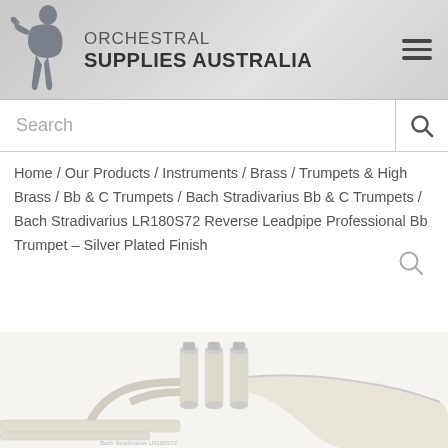[Figure (logo): Orchestral Supplies Australia logo with silhouette of trumpet player and company name]
Search
Home / Our Products / Instruments / Brass / Trumpets & High Brass / Bb & C Trumpets / Bach Stradivarius Bb & C Trumpets / Bach Stradivarius LR180S72 Reverse Leadpipe Professional Bb Trumpet – Silver Plated Finish
[Figure (photo): Partial photo of a Bach Stradivarius silver plated Bb trumpet showing valves and bell]